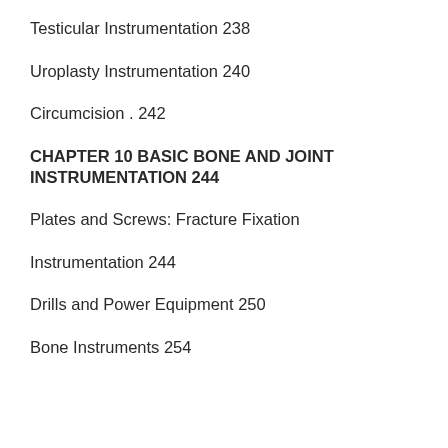Testicular Instrumentation 238
Uroplasty Instrumentation 240
Circumcision . 242
CHAPTER 10 BASIC BONE AND JOINT INSTRUMENTATION 244
Plates and Screws: Fracture Fixation
Instrumentation 244
Drills and Power Equipment 250
Bone Instruments 254